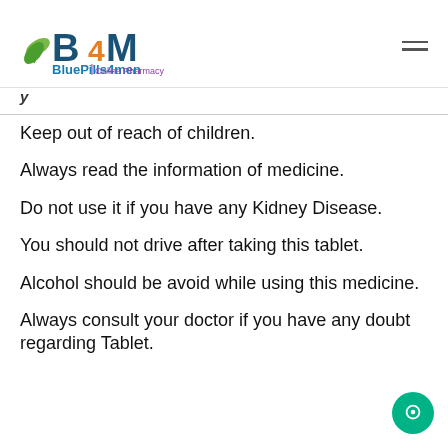[Figure (logo): BluePills4men Online Pharmacy logo with B4M letters and green leaf icon]
y
Keep out of reach of children.
Always read the information of medicine.
Do not use it if you have any Kidney Disease.
You should not drive after taking this tablet.
Alcohol should be avoid while using this medicine.
Always consult your doctor if you have any doubt regarding Tablet.